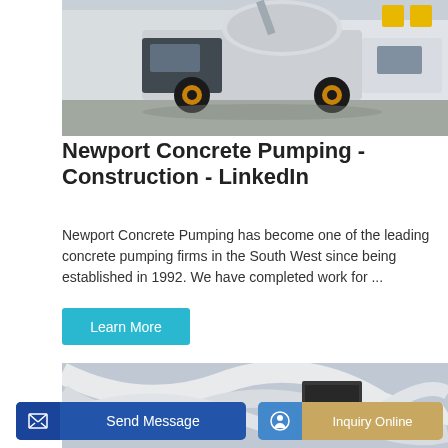[Figure (photo): Concrete pumping truck / mixer vehicle in a yard, white body with yellow wheels]
Newport Concrete Pumping - Construction - LinkedIn
Newport Concrete Pumping has become one of the leading concrete pumping firms in the South West since being established in 1992. We have completed work for ...
[Figure (screenshot): Partial screenshot showing concrete pump hoses/equipment]
[Figure (screenshot): Send Message button (blue) and Inquiry Online button (tan/gold) at bottom]